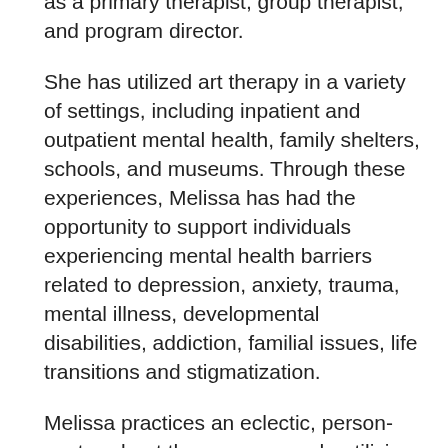as a primary therapist, group therapist, and program director.
She has utilized art therapy in a variety of settings, including inpatient and outpatient mental health, family shelters, schools, and museums. Through these experiences, Melissa has had the opportunity to support individuals experiencing mental health barriers related to depression, anxiety, trauma, mental illness, developmental disabilities, addiction, familial issues, life transitions and stigmatization.
Melissa practices an eclectic, person-centered, art therapy approach, utilizing Humanistic, Attachment-Based, Relational, and Pyscho-Educational Frameworks; tailoring each therapeutic experience to meet the client or group where they are at. Throughout all her work, she weaves in mindfulness practice and self-compassion, while encouraging the unpacking of collective and systemic issue that